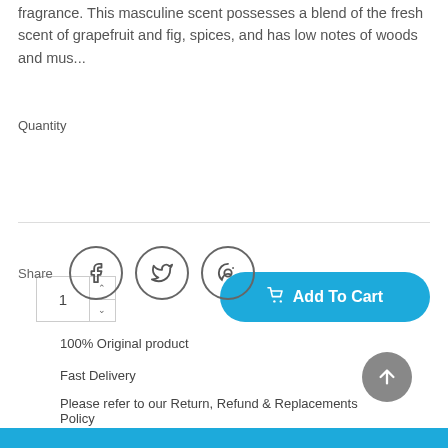fragrance. This masculine scent possesses a blend of the fresh scent of grapefruit and fig, spices, and has low notes of woods and mus...
Quantity
[Figure (screenshot): Quantity spinner input showing value 1 with up/down arrows]
[Figure (screenshot): Blue rounded Add To Cart button with shopping cart icon]
[Figure (infographic): Share row with Facebook, Twitter, and Pinterest circle icon buttons]
100% Original product
Fast Delivery
Please refer to our Return, Refund & Replacements Policy